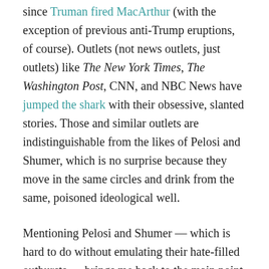since Truman fired MacArthur (with the exception of previous anti-Trump eruptions, of course). Outlets (not news outlets, just outlets) like The New York Times, The Washington Post, CNN, and NBC News have jumped the shark with their obsessive, slanted stories. Those and similar outlets are indistinguishable from the likes of Pelosi and Shumer, which is no surprise because they move in the same circles and drink from the same, poisoned ideological well.
Mentioning Pelosi and Shumer — which is hard to do without emulating their hate-filled outbursts — brings me back to the main point of this post: the breakup of America. It has already happened, as you know if you've been paying attention. But it's more than a breakup because the defectors from old America left it in spirit but not in body. They're still among us — in zombie-like